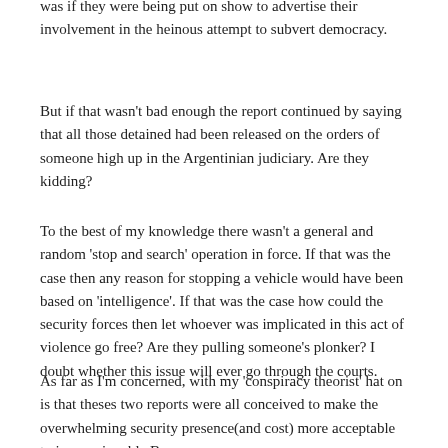the boats were of a different size and trim and the labels were pristine, with not a mark of petrol to spoil the image. It was if they were being put on show to advertise their involvement in the heinous attempt to subvert democracy.
But if that wasn't bad enough the report continued by saying that all those detained had been released on the orders of someone high up in the Argentinian judiciary. Are they kidding?
To the best of my knowledge there wasn't a general and random 'stop and search' operation in force. If that was the case then any reason for stopping a vehicle would have been based on 'intelligence'. If that was the case how could the security forces then let whoever was implicated in this act of violence go free? Are they pulling someone's plonker? I doubt whether this issue will ever go through the courts.
As far as I'm concerned, with my 'conspiracy theorist' hat on is that theses two reports were all conceived to make the overwhelming security presence(and cost) more acceptable to impressionable Bonaerenses.